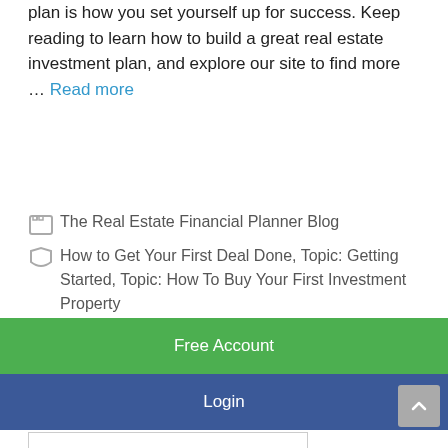plan is how you set yourself up for success. Keep reading to learn how to build a great real estate investment plan, and explore our site to find more … Read more
The Real Estate Financial Planner Blog
How to Get Your First Deal Done, Topic: Getting Started, Topic: How To Buy Your First Investment Property
Free Account
Login